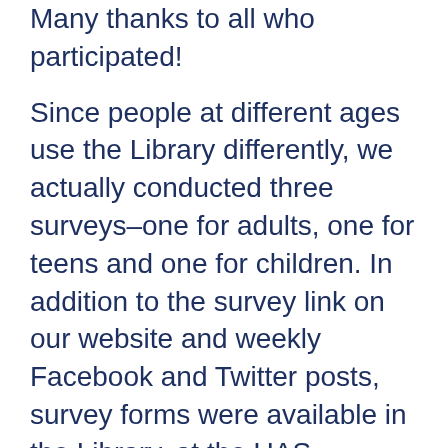Many thanks to all who participated!
Since people at different ages use the Library differently, we actually conducted three surveys–one for adults, one for teens and one for children. In addition to the survey link on our website and weekly Facebook and Twitter posts, survey forms were available in the Library, at the UAS-Ketchikan Campus Library, in the August 12-13, 2017 edition of the Ketchikan Daily News, at the 2017 Blueberry Arts Festival and the Ketchikan Volunteer Fair, and one Saturday each at the